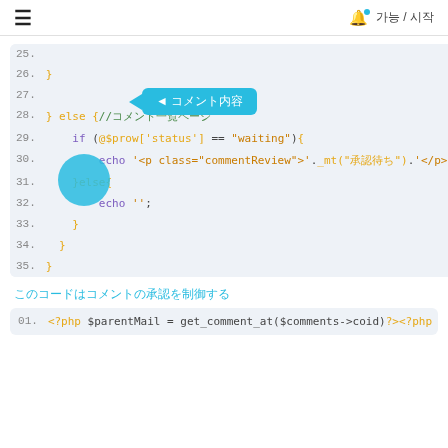≡  🔔 로그 / 인로
[Figure (screenshot): PHP code block showing lines 25-35 with a blue tooltip popup and blue circle overlay. Lines include closing braces, else block, if condition checking $prow['status'] == 'waiting', echo statements, and closing braces.]
이 글에 작성된 댓글을 관리하는 코드입니다.
[Figure (screenshot): PHP code block showing line 01: <?php $parentMail = get_comment_at($comments->coid)?><?php]